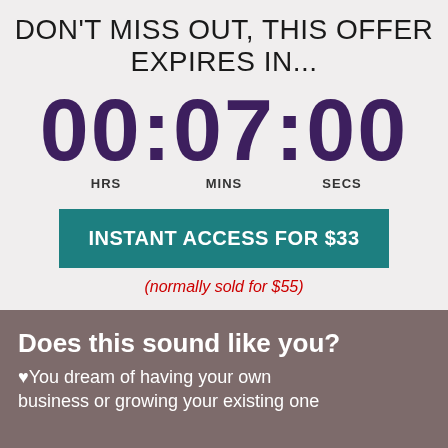DON'T MISS OUT, THIS OFFER EXPIRES IN...
00:07:00
HRS    MINS    SECS
INSTANT ACCESS FOR $33
(normally sold for $55)
Does this sound like you?
♥You dream of having your own business or growing your existing one